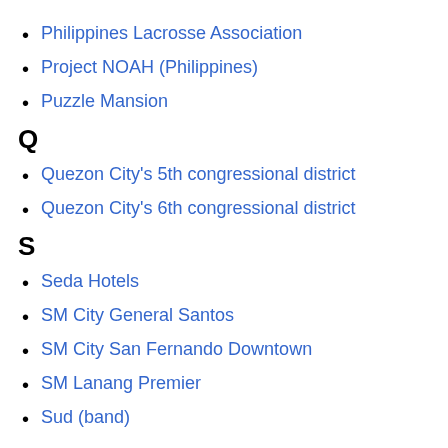Philippines Lacrosse Association
Project NOAH (Philippines)
Puzzle Mansion
Q
Quezon City's 5th congressional district
Quezon City's 6th congressional district
S
Seda Hotels
SM City General Santos
SM City San Fernando Downtown
SM Lanang Premier
Sud (band)